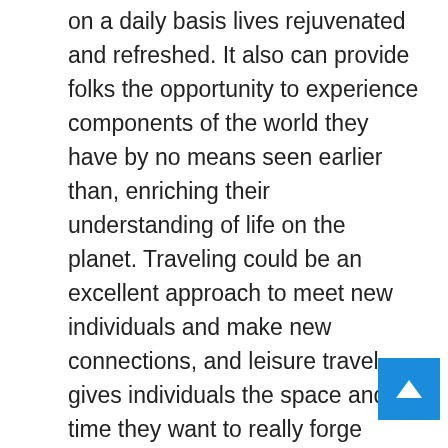on a daily basis lives rejuvenated and refreshed. It also can provide folks the opportunity to experience components of the world they have by no means seen earlier than, enriching their understanding of life on the planet. Traveling could be an excellent approach to meet new individuals and make new connections, and leisure travel gives individuals the space and time they want to really forge these bonds. Travel and Leisure is a trusted online travel information providing critiques and data on resorts, nightlife, spas, buying, and foods and drinks destinations everywhere in the world. Do your analysis at TravelAndLeisure.com and put together to have the best family or business travel. This statistic shows the leading travel and leis corporations within the United States in 2015, by